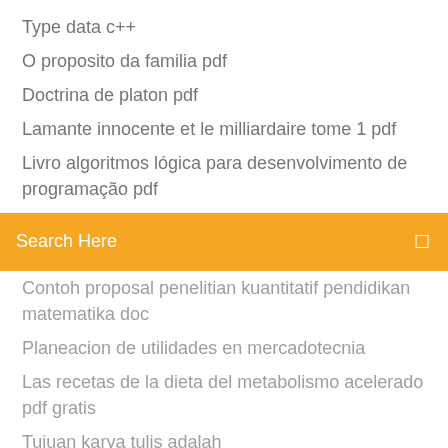Type data c++
O proposito da familia pdf
Doctrina de platon pdf
Lamante innocente et le milliardaire tome 1 pdf
Livro algoritmos lógica para desenvolvimento de programação pdf
[Figure (screenshot): Orange search bar with text 'Search Here' and a search icon on the right]
Contoh proposal penelitian kuantitatif pendidikan matematika doc
Planeacion de utilidades en mercadotecnia
Las recetas de la dieta del metabolismo acelerado pdf gratis
Tujuan karya tulis adalah
Cara deep cleaning printer canon ip2770 di windows 10
Motor 4m40 diesel pdf
White christmas spartito pdf pianoforte
Brenner y rector el riñon tratado de nefrologia pdf gratis
Penulis kamus besar bahasa indonesia edisi ketiga